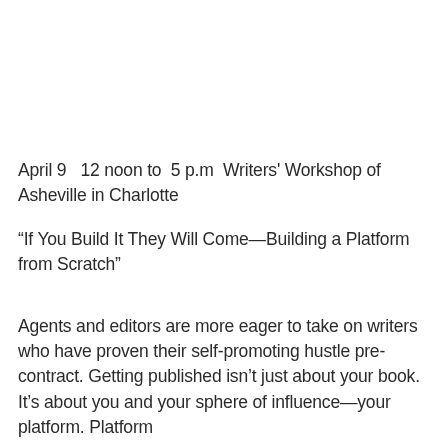April 9   12 noon to  5 p.m  Writers' Workshop of Asheville in Charlotte
“If You Build It They Will Come—Building a Platform from Scratch”
Agents and editors are more eager to take on writers who have proven their self-promoting hustle pre-contract. Getting published isn’t just about your book. It’s about you and your sphere of influence—your platform. Platform